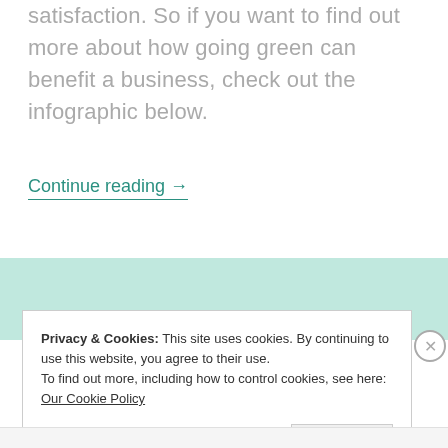satisfaction. So if you want to find out more about how going green can benefit a business, check out the infographic below.
Continue reading →
[Figure (other): Teal/mint green decorative horizontal banner bar]
Privacy & Cookies: This site uses cookies. By continuing to use this website, you agree to their use.
To find out more, including how to control cookies, see here: Our Cookie Policy
close